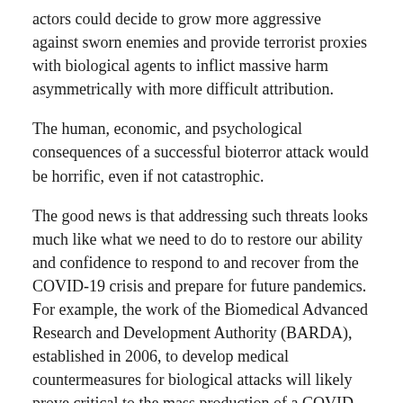actors could decide to grow more aggressive against sworn enemies and provide terrorist proxies with biological agents to inflict massive harm asymmetrically with more difficult attribution.
The human, economic, and psychological consequences of a successful bioterror attack would be horrific, even if not catastrophic.
The good news is that addressing such threats looks much like what we need to do to restore our ability and confidence to respond to and recover from the COVID-19 crisis and prepare for future pandemics. For example, the work of the Biomedical Advanced Research and Development Authority (BARDA), established in 2006, to develop medical countermeasures for biological attacks will likely prove critical to the mass production of a COVID-19 vaccine in the United States.24
We will need to repair the tools of prevention and information-sharing globally; restock the equipment,